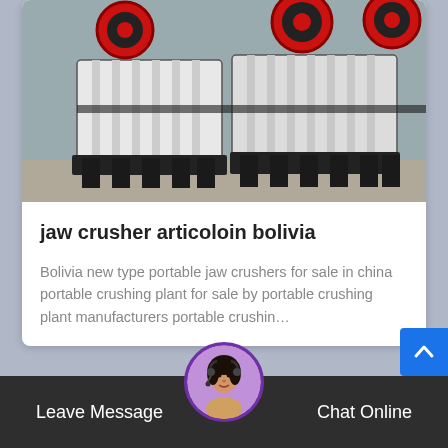[Figure (photo): Industrial jaw crusher machine, white and black metal structure with red wheel components, photographed in an industrial yard]
jaw crusher articoloin bolivia
Bolivia new type portable jaw crushers for sale in china portable crushing plant for sale by portable crushing plant manufacturers portable crushin…
[Figure (photo): Industrial machinery with large gold/yellow wheels inside a factory or warehouse]
Leave Message
Chat Online